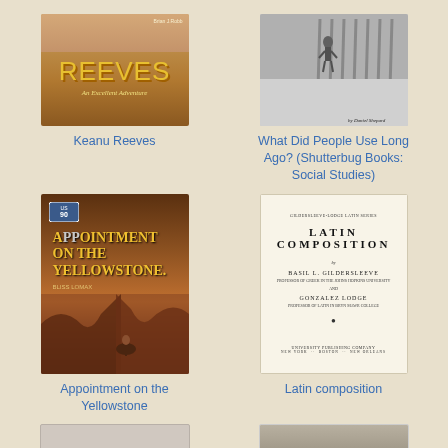[Figure (photo): Book cover for Keanu Reeves: An Excellent Adventure]
Keanu Reeves
[Figure (photo): Book cover for What Did People Use Long Ago? (Shutterbug Books: Social Studies) by Daniel Shepard]
What Did People Use Long Ago? (Shutterbug Books: Social Studies)
[Figure (photo): Book cover for Appointment on the Yellowstone by Bliss Lomax]
Appointment on the Yellowstone
[Figure (photo): Book cover for Latin Composition by Basil L. Gildersleeve and Gonzalez Lodge, University Publishing Company]
Latin composition
[Figure (photo): Book cover for Maudie]
[Figure (photo): Book cover for Martin Bell]